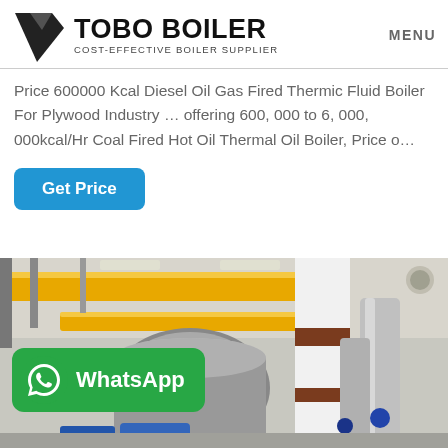[Figure (logo): Tobo Boiler logo with stylized black kite/boiler icon, bold text 'TOBO BOILER' and tagline 'COST-EFFECTIVE BOILER SUPPLIER']
Price 600000 Kcal Diesel Oil Gas Fired Thermic Fluid Boiler For Plywood Industry … offering 600, 000 to 6, 000, 000kcal/Hr Coal Fired Hot Oil Thermal Oil Boiler, Price o…
Get Price
[Figure (photo): Industrial boiler room interior with large yellow pipes running along ceiling, large cylindrical silver boiler vessel, white structural columns with brown accents, and various valves and fittings visible]
[Figure (logo): WhatsApp green badge with phone handset icon and 'WhatsApp' text in white]